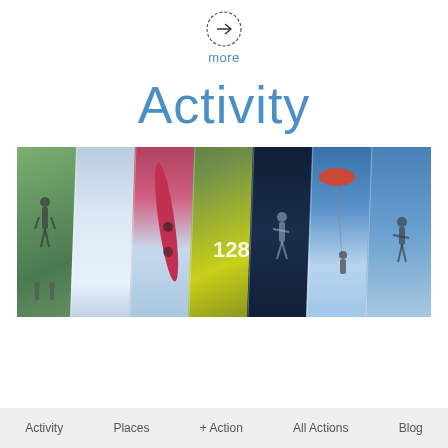[Figure (illustration): Circular icon with arrow pointing right, styled as a 'more' navigation button]
more
Activity
[Figure (photo): Collage of seven overlapping diagonal panel photos showing outdoor activities: hiking, skiing, surfing, motocross, diving, kitesurfing, and kiteboarding]
Activity    Places    + Action    All Actions    Blog